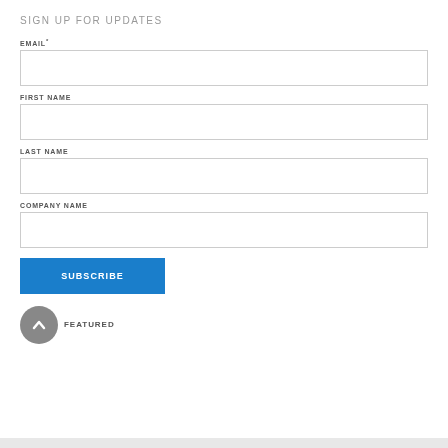SIGN UP FOR UPDATES
EMAIL*
FIRST NAME
LAST NAME
COMPANY NAME
SUBSCRIBE
FEATURED